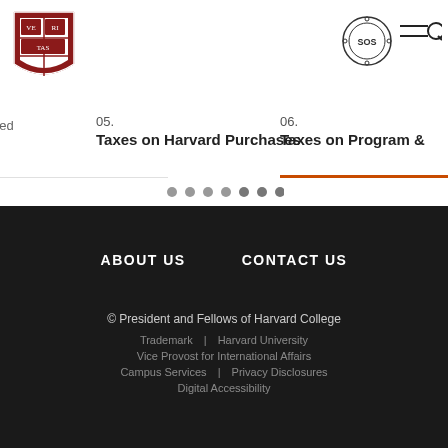[Figure (logo): Harvard University shield/crest logo in dark red]
[Figure (logo): SOS circular icon]
05. Taxes on Harvard Purchases
06. Taxes on Program &
ABOUT US    CONTACT US
© President and Fellows of Harvard College
Trademark  |  Harvard University
Vice Provost for International Affairs
Campus Services  |  Privacy Disclosures
Digital Accessibility